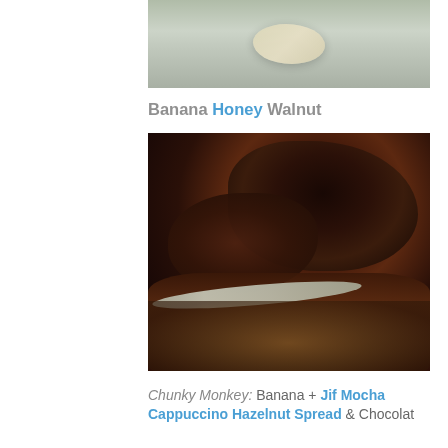[Figure (photo): Top partial photo of a banana slice in a glass bowl, light grey-green background]
Banana Honey Walnut
[Figure (photo): Close-up photo of Chunky Monkey dessert in a glass bowl: chocolate sauce poured over granola and banana with a spoon visible]
Chunky Monkey: Banana + Jif Mocha Cappuccino Hazelnut Spread & Chocolate